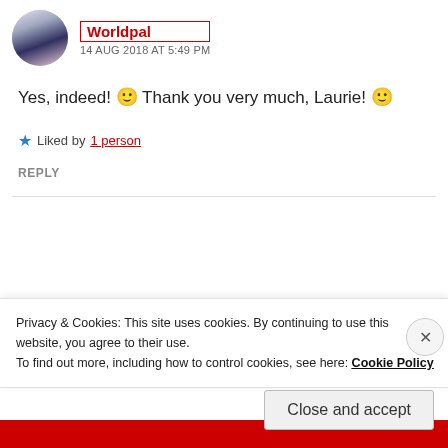[Figure (photo): Avatar photo of a couple, circular crop]
Worldpal
14 AUG 2018 AT 5:49 PM
Yes, indeed! 🙂 Thank you very much, Laurie! 🙂
★ Liked by 1 person
REPLY
[Figure (photo): Avatar photo of Em, circular crop showing dark hair]
Em
Privacy & Cookies: This site uses cookies. By continuing to use this website, you agree to their use.
To find out more, including how to control cookies, see here: Cookie Policy
Close and accept